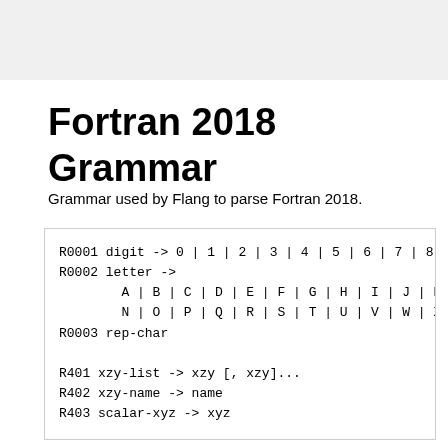Fortran 2018 Grammar
Grammar used by Flang to parse Fortran 2018.
R0001 digit -> 0 | 1 | 2 | 3 | 4 | 5 | 6 | 7 | 8
R0002 letter ->
        A | B | C | D | E | F | G | H | I | J | K
        N | O | P | Q | R | S | T | U | V | W | X
R0003 rep-char

R401 xzy-list -> xzy [, xzy]...
R402 xzy-name -> name
R403 scalar-xyz -> xyz

R501 program -> program-unit [program-unit]...
R502 program-unit ->
        main-program | external-subprogram | modul